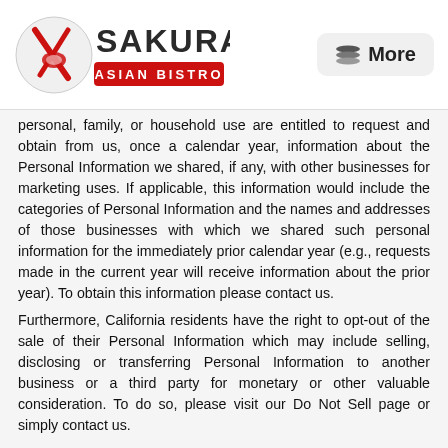Sakura Asian Bistro — More
personal, family, or household use are entitled to request and obtain from us, once a calendar year, information about the Personal Information we shared, if any, with other businesses for marketing uses. If applicable, this information would include the categories of Personal Information and the names and addresses of those businesses with which we shared such personal information for the immediately prior calendar year (e.g., requests made in the current year will receive information about the prior year). To obtain this information please contact us.
Furthermore, California residents have the right to opt-out of the sale of their Personal Information which may include selling, disclosing or transferring Personal Information to another business or a third party for monetary or other valuable consideration. To do so, please visit our Do Not Sell page or simply contact us.